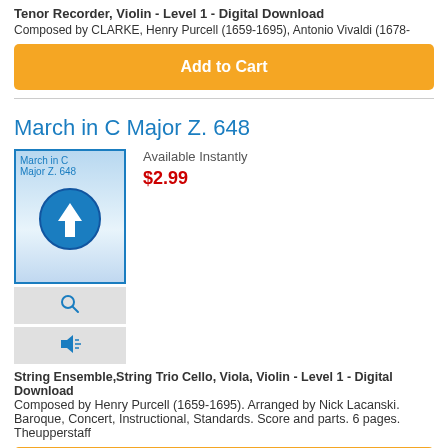Tenor Recorder, Violin - Level 1 - Digital Download
Composed by CLARKE, Henry Purcell (1659-1695), Antonio Vivaldi (1678-
Add to Cart
March in C Major Z. 648
[Figure (illustration): Product thumbnail image for March in C Major Z. 648 showing a digital download icon with a music note inside a blue circle with down arrow, on a blue gradient background. Below are two grey buttons with a magnifying glass icon and a speaker/audio icon.]
Available Instantly
$2.99
String Ensemble,String Trio Cello, Viola, Violin - Level 1 - Digital Download
Composed by Henry Purcell (1659-1695). Arranged by Nick Lacanski. Baroque, Concert, Instructional, Standards. Score and parts. 6 pages. Theupperstaff
Add to Cart